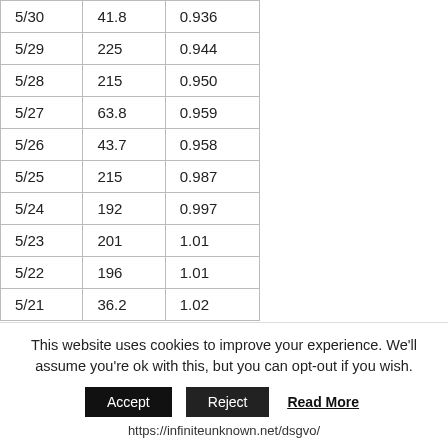| 5/30 | 41.8 | 0.936 |
| 5/29 | 225 | 0.944 |
| 5/28 | 215 | 0.950 |
| 5/27 | 63.8 | 0.959 |
| 5/26 | 43.7 | 0.958 |
| 5/25 | 215 | 0.987 |
| 5/24 | 192 | 0.997 |
| 5/23 | 201 | 1.01 |
| 5/22 | 196 | 1.01 |
| 5/21 | 36.2 | 1.02 |
This website uses cookies to improve your experience. We'll assume you're ok with this, but you can opt-out if you wish.
Accept | Reject | Read More
https://infiniteunknown.net/dsgvo/